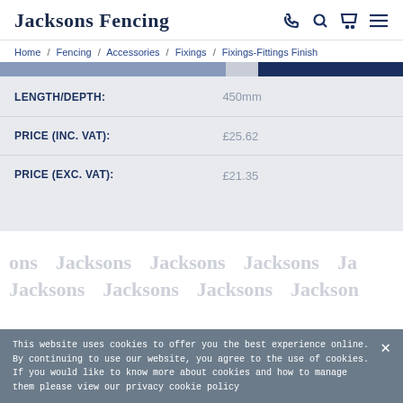Jacksons Fencing
Home / Fencing / Accessories / Fixings / Fixings-Fittings Finish
| Attribute | Value |
| --- | --- |
| LENGTH/DEPTH: | 450mm |
| PRICE (INC. VAT): | £25.62 |
| PRICE (EXC. VAT): | £21.35 |
[Figure (illustration): Watermark pattern with repeated 'Jacksons' text in light grey]
This website uses cookies to offer you the best experience online. By continuing to use our website, you agree to the use of cookies. If you would like to know more about cookies and how to manage them please view our privacy cookie policy